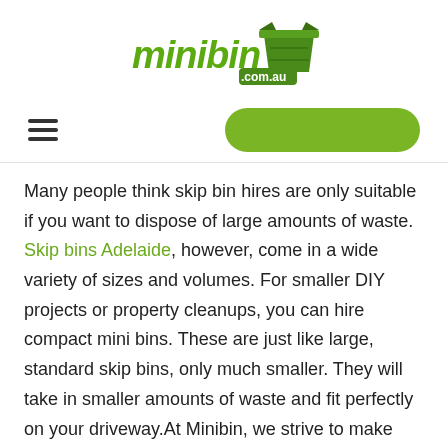[Figure (logo): minibin.com.au logo with green skip bin graphic and stylized text]
[Figure (other): Navigation bar with hamburger menu icon on the left and a green pill-shaped CTA button on the right]
Many people think skip bin hires are only suitable if you want to dispose of large amounts of waste. Skip bins Adelaide, however, come in a wide variety of sizes and volumes. For smaller DIY projects or property cleanups, you can hire compact mini bins. These are just like large, standard skip bins, only much smaller. They will take in smaller amounts of waste and fit perfectly on your driveway.At Minibin, we strive to make waste disposal more convenient and efficient for you. Our mini bins hire company was established in 2008; since then, we have